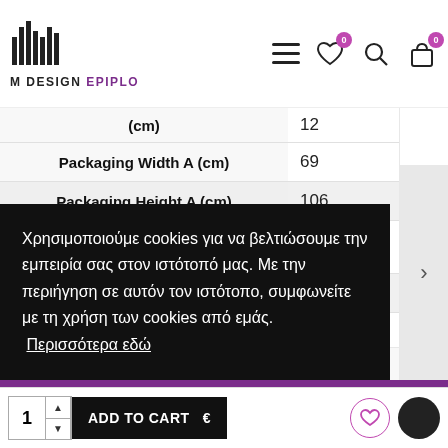M DESIGN EPIPLO
| Property | Value |
| --- | --- |
| (cm) | 12 |
| Packaging Width A (cm) | 69 |
| Packaging Height A (cm) | 106 |
| Packaging Length B (cm) | 14 |
| Packaging Width B (cm) | 75 |
| Packaging Height B (cm) | 12 |
Χρησιμοποιούμε cookies για να βελτιώσουμε την εμπειρία σας στον ιστότοπό μας. Με την περιήγηση σε αυτόν τον ιστότοπο, συμφωνείτε με τη χρήση των cookies από εμάς. Περισσότερα εδώ
1  ADD TO CART  €